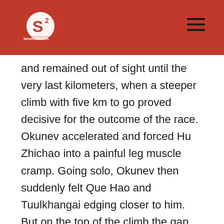[Logo: SinoRides] [Hamburger menu icon]
and remained out of sight until the very last kilometers, when a steeper climb with five km to go proved decisive for the outcome of the race. Okunev accelerated and forced Hu Zhichao into a painful leg muscle cramp. Going solo, Okunev then suddenly felt Que Hao and Tuulkhangai edging closer to him. But on the top of the climb the gap was still 20 seconds. Tuulkhangai dropped Que Hao and flew past Hu Zhichao, but the Mongolian time trial specialist was unable to still catch Denis Okunev in the final two - mainly downhill- kilometers. A well-deserved and impressive victory for Denis Okunev, after winning the two-day Yanbian stage race last year.
In the womens race, Mongolias Solongo Tserenlham was